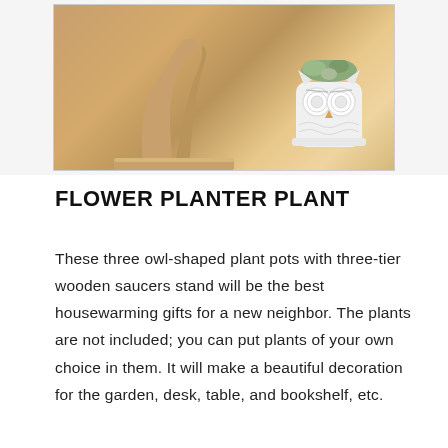[Figure (photo): Photo of owl-shaped white ceramic plant pot with succulent on a wooden tiered stand, bamboo/wood colored background]
FLOWER PLANTER PLANT
These three owl-shaped plant pots with three-tier wooden saucers stand will be the best housewarming gifts for a new neighbor. The plants are not included; you can put plants of your own choice in them. It will make a beautiful decoration for the garden, desk, table, and bookshelf, etc.